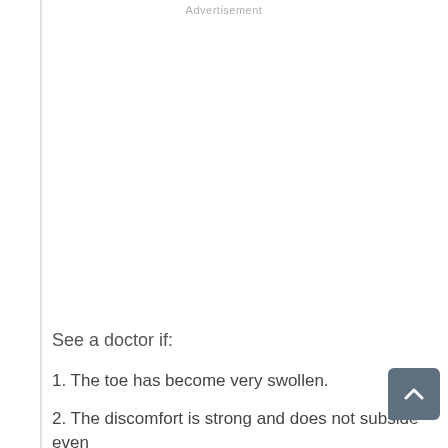Advertisement
See a doctor if:
1. The toe has become very swollen.
2. The discomfort is strong and does not subside even